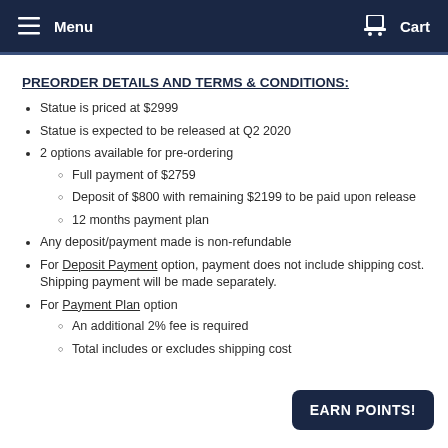Menu  Cart
PREORDER DETAILS AND TERMS & CONDITIONS:
Statue is priced at $2999
Statue is expected to be released at Q2 2020
2 options available for pre-ordering
Full payment of $2759
Deposit of $800 with remaining $2199 to be paid upon release
12 months payment plan
Any deposit/payment made is non-refundable
For Deposit Payment option, payment does not include shipping cost. Shipping payment will be made separately.
For Payment Plan option
An additional 2% fee is required
Total includes or excludes shipping cost